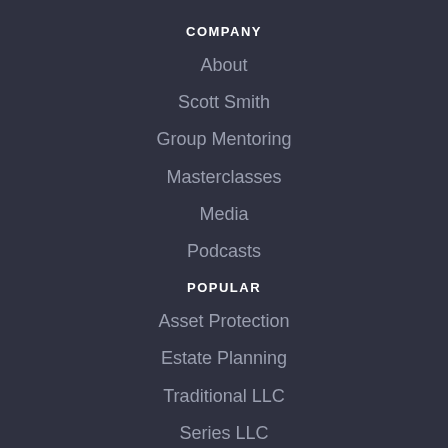COMPANY
About
Scott Smith
Group Mentoring
Masterclasses
Media
Podcasts
POPULAR
Asset Protection
Estate Planning
Traditional LLC
Series LLC
Delaware Statutory Trust
Land Trust